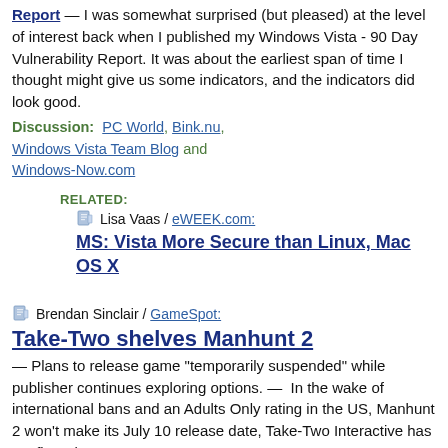Report — I was somewhat surprised (but pleased) at the level of interest back when I published my Windows Vista - 90 Day Vulnerability Report.  It was about the earliest span of time I thought might give us some indicators, and the indicators did look good.
Discussion:  PC World, Bink.nu, Windows Vista Team Blog and Windows-Now.com
RELATED:
Lisa Vaas / eWEEK.com: MS: Vista More Secure than Linux, Mac OS X
Brendan Sinclair / GameSpot: Take-Two shelves Manhunt 2 — Plans to release game "temporarily suspended" while publisher continues exploring options. —  In the wake of international bans and an Adults Only rating in the US, Manhunt 2 won't make its July 10 release date, Take-Two Interactive has confirmed.
Discussion:  mathewingram.com/work